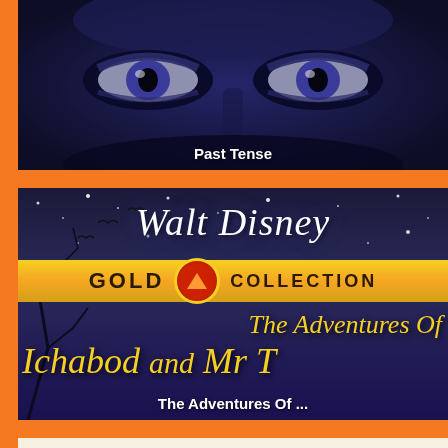[Figure (photo): Close-up of a face/eyes in dark blue-purple tones, title overlay 'Past Tense']
Past Tense
[Figure (photo): Walt Disney Gold Collection DVD cover for 'The Adventures Of Ichabod and Mr. Toad' with dark spooky night background, golden title text, gold bar reading GOLD COLLECTION]
The Adventures Of ...
[Figure (photo): Partially visible movie/show cover with cream/yellow background, partial red text visible at right edge]